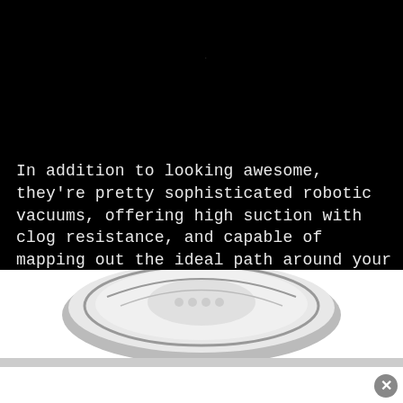In addition to looking awesome, they're pretty sophisticated robotic vacuums, offering high suction with clog resistance, and capable of mapping out the ideal path around your room to cover every inch, right up to the corners and along the edges of the wall.
[Figure (photo): Bottom portion of a white robotic vacuum cleaner visible against a white background, partially cut off at the bottom of the page. A gray bar/strip is visible at the very bottom, with a close button (X) in the lower right corner.]